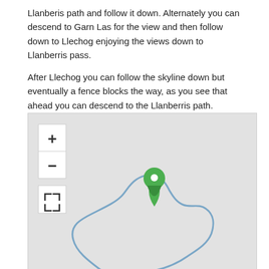Llanberis path and follow it down. Alternately you can descend to Garn Las for the view and then follow down to Llechog enjoying the views down to Llanberris pass.
After Llechog you can follow the skyline down but eventually a fence blocks the way, as you see that ahead you can descend to the Llanberris path.
[Figure (map): An interactive map showing a trail route in a mountainous area. The map has a light grey background with zoom controls (+ and -) in the top left and a fullscreen button below. A green location pin marker is placed near the center of the map. A blue trail route path loops around the lower portion of the map, forming a roughly circular route.]